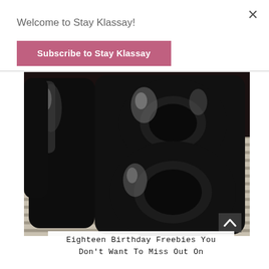Welcome to Stay Klassay!
Subscribe to Stay Klassay
[Figure (photo): Large black and silver foil number balloons shaped as '18' against a background of window blinds and a dark wall]
Eighteen Birthday Freebies You Don't Want To Miss Out On